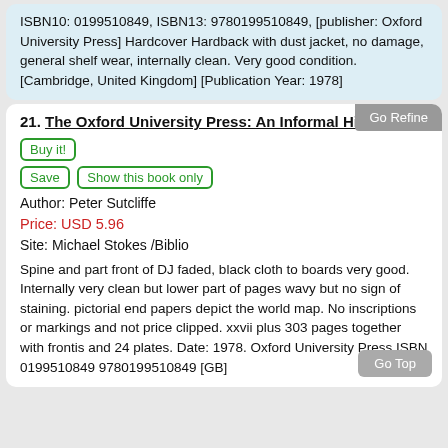ISBN10: 0199510849, ISBN13: 9780199510849, [publisher: Oxford University Press] Hardcover Hardback with dust jacket, no damage, general shelf wear, internally clean. Very good condition.
[Cambridge, United Kingdom] [Publication Year: 1978]
21. The Oxford University Press: An Informal History
Author: Peter Sutcliffe
Price: USD 5.96
Site: Michael Stokes /Biblio
Spine and part front of DJ faded, black cloth to boards very good. Internally very clean but lower part of pages wavy but no sign of staining. pictorial end papers depict the world map. No inscriptions or markings and not price clipped. xxvii plus 303 pages together with frontis and 24 plates. Date: 1978. Oxford University Press ISBN 0199510849 9780199510849 [GB]